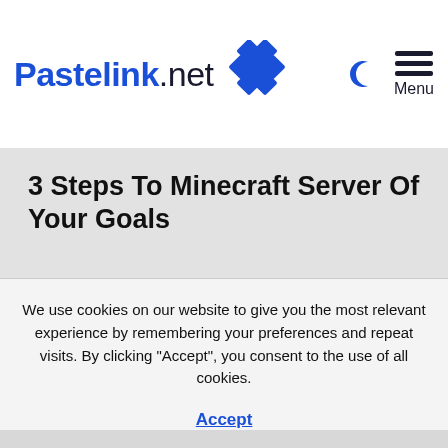Pastelink.net
3 Steps To Minecraft Server Of Your Goals
We use cookies on our website to give you the most relevant experience by remembering your preferences and repeat visits. By clicking “Accept”, you consent to the use of all cookies.

Accept